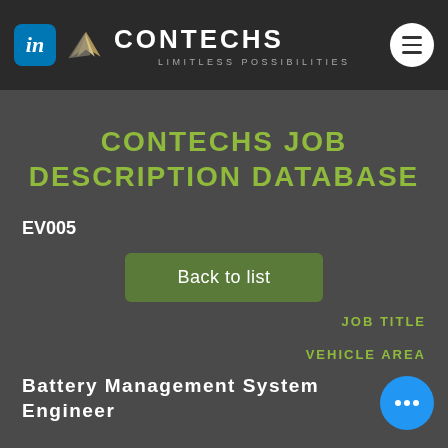CONTECHS LIMITLESS POSSIBILITIES
CONTECHS JOB DESCRIPTION DATABASE
EV005
Back to list
JOB TITLE
VEHICLE AREA
Battery Management System Engineer